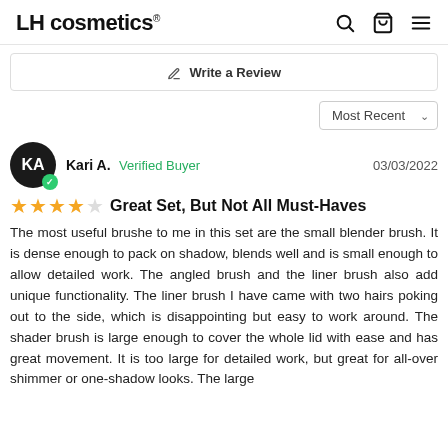LH cosmetics®
✏ Write a Review
Most Recent
Kari A. Verified Buyer 03/03/2022
Great Set, But Not All Must-Haves
The most useful brushe to me in this set are the small blender brush. It is dense enough to pack on shadow, blends well and is small enough to allow detailed work. The angled brush and the liner brush also add unique functionality. The liner brush I have came with two hairs poking out to the side, which is disappointing but easy to work around. The shader brush is large enough to cover the whole lid with ease and has great movement. It is too large for detailed work, but great for all-over shimmer or one-shadow looks. The large